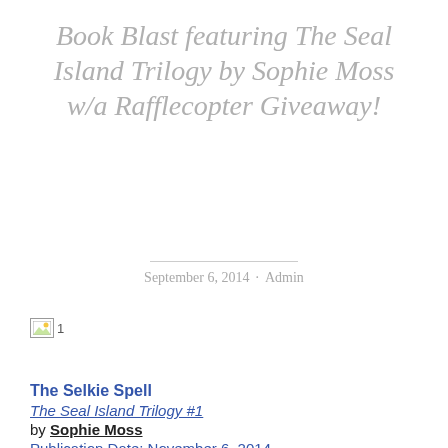Book Blast featuring The Seal Island Trilogy by Sophie Moss w/a Rafflecopter Giveaway!
September 6, 2014 · Admin
[Figure (photo): Broken image placeholder labeled '1']
The Selkie Spell
The Seal Island Trilogy #1
by Sophie Moss
Publication Date: November 6, 2014